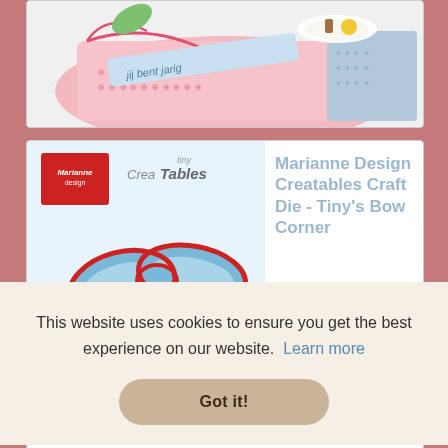[Figure (photo): Top portion of a craft product card showing a decorative birthday cake box with pink floral patterns, ribbons, handwritten text 'jij bent jarig', and a plate with small items on top.]
[Figure (photo): Product listing card for Marianne Design Creatables Craft Die - Tiny's Bow Corner, showing a red-bordered blue bow-shaped die cut tool on a blue background with Marianne Design Creatables logo.]
Marianne Design Creatables Craft Die - Tiny's Bow Corner
This website uses cookies to ensure you get the best experience on our website.  Learn more
Got it!
95mm x 130mm.